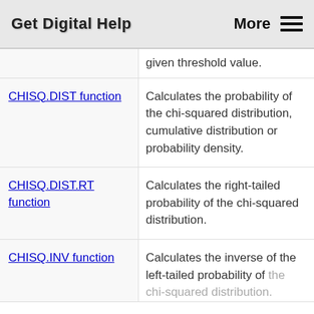Get Digital Help   More ☰
given threshold value.
CHISQ.DIST function — Calculates the probability of the chi-squared distribution, cumulative distribution or probability density.
CHISQ.DIST.RT function — Calculates the right-tailed probability of the chi-squared distribution.
CHISQ.INV function — Calculates the inverse of the left-tailed probability of the chi-squared distribution.